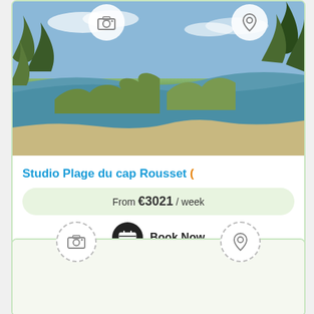[Figure (photo): Coastal beach scene with a small cove, trees, sandy shore, and blue-green water under a partly cloudy sky]
Studio Plage du cap Rousset (
From €3021 / week
Book Now
[Figure (photo): Second listing card with camera and map pin icons, photo area not yet loaded]